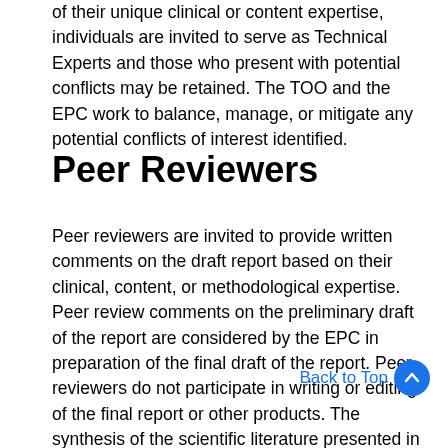of their unique clinical or content expertise, individuals are invited to serve as Technical Experts and those who present with potential conflicts may be retained. The TOO and the EPC work to balance, manage, or mitigate any potential conflicts of interest identified.
Peer Reviewers
Peer reviewers are invited to provide written comments on the draft report based on their clinical, content, or methodological expertise. Peer review comments on the preliminary draft of the report are considered by the EPC in preparation of the final draft of the report. Peer reviewers do not participate in writing or editing of the final report or other products. The synthesis of the scientific literature presented in the final report does not necessarily represent the views of individual reviewers. The dispositions of the peer review